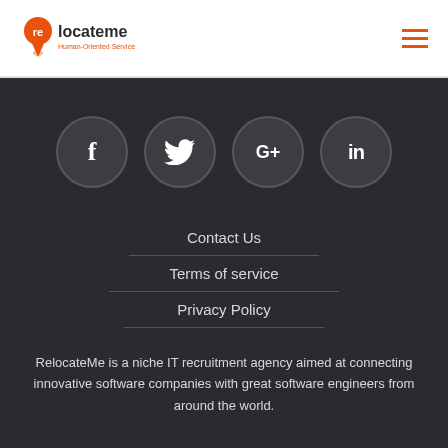relocateme Human-Oriented Service
[Figure (illustration): Social media icons: Facebook (f), Twitter (bird), Google+ (G+), LinkedIn (in) — white icons on dark circular backgrounds]
Contact Us
Terms of service
Privacy Policy
RelocateMe is a niche IT recruitment agency aimed at connecting innovative software companies with great software engineers from around the world.